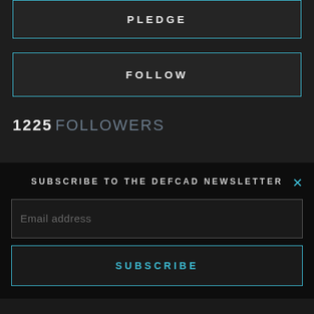PLEDGE
FOLLOW
1225 FOLLOWERS
SUBSCRIBE TO THE DEFCAD NEWSLETTER
Email address
SUBSCRIBE